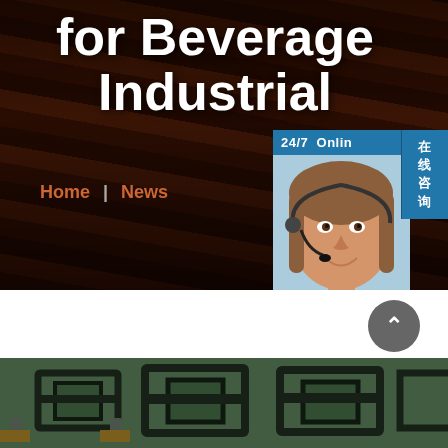[Figure (photo): Website banner with dark wood/lumber background, large white bold title text reading 'for Beverage Industrial', navigation links Home and News in orange, and a live chat widget on the right side with a customer service representative photo, Chinese text '在线咨询', '24/7 Online' header, PROVIDE SUPPORT branding, and 'online live' button]
[Figure (photo): Factory floor photo showing metal frame components/molds laid out on a green surface in a manufacturing facility]